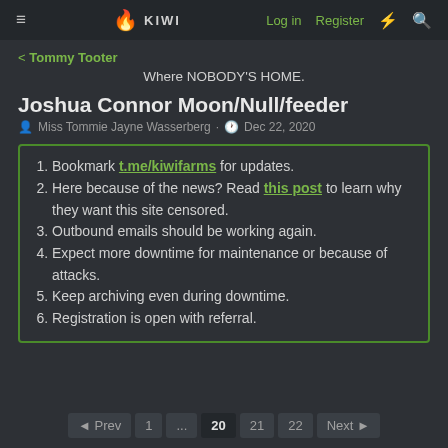≡  KIWI  Log in  Register  ⚡  🔍
< Tommy Tooter
Where NOBODY'S HOME.
Joshua Connor Moon/Null/feeder
Miss Tommie Jayne Wasserberg · Dec 22, 2020
1. Bookmark t.me/kiwifarms for updates.
2. Here because of the news? Read this post to learn why they want this site censored.
3. Outbound emails should be working again.
4. Expect more downtime for maintenance or because of attacks.
5. Keep archiving even during downtime.
6. Registration is open with referral.
◄ Prev  1  ...  20  21  22  Next ►